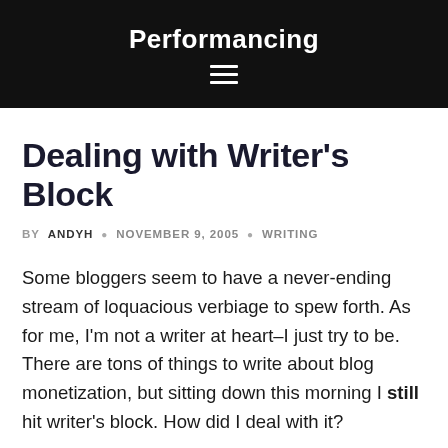Performancing
Dealing with Writer's Block
BY ANDYH · NOVEMBER 9, 2005 · WRITING
Some bloggers seem to have a never-ending stream of loquacious verbiage to spew forth. As for me, I'm not a writer at heart–I just try to be. There are tons of things to write about blog monetization, but sitting down this morning I still hit writer's block. How did I deal with it?